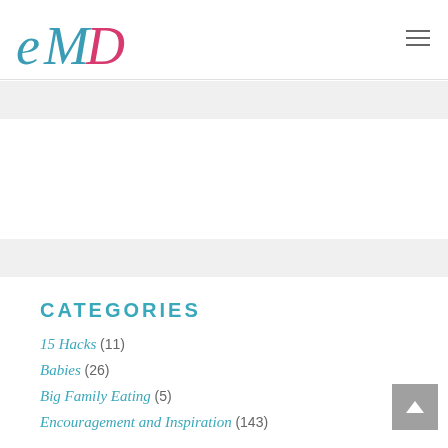[Figure (logo): eMD cursive logo in teal and pink]
CATEGORIES
15 Hacks (11)
Babies (26)
Big Family Eating (5)
Encouragement and Inspiration (143)